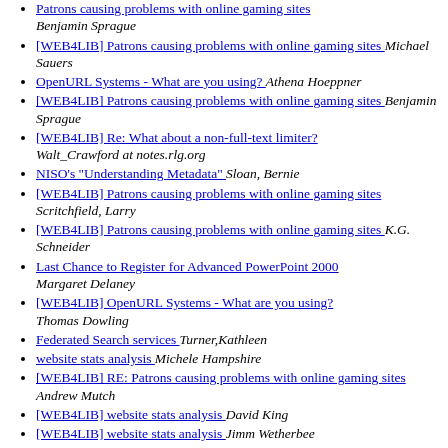Patrons causing problems with online gaming sites  Benjamin Sprague
[WEB4LIB] Patrons causing problems with online gaming sites   Michael Sauers
OpenURL Systems - What are you using?   Athena Hoeppner
[WEB4LIB] Patrons causing problems with online gaming sites   Benjamin Sprague
[WEB4LIB] Re: What about a non-full-text limiter?  Walt_Crawford at notes.rlg.org
NISO's "Understanding Metadata"   Sloan, Bernie
[WEB4LIB] Patrons causing problems with online gaming sites   Scritchfield, Larry
[WEB4LIB] Patrons causing problems with online gaming sites   K.G. Schneider
Last Chance to Register for Advanced PowerPoint 2000  Margaret Delaney
[WEB4LIB] OpenURL Systems - What are you using?  Thomas Dowling
Federated Search services   Turner,Kathleen
website stats analysis   Michele Hampshire
[WEB4LIB] RE: Patrons causing problems with online gaming sites   Andrew Mutch
[WEB4LIB] website stats analysis   David King
[WEB4LIB] website stats analysis   Jimm Wetherbee